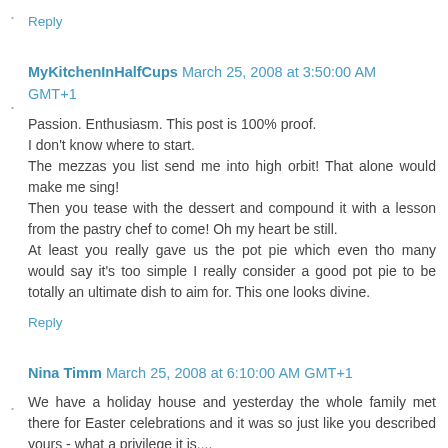Reply
MyKitchenInHalfCups March 25, 2008 at 3:50:00 AM GMT+1
Passion. Enthusiasm. This post is 100% proof.
I don't know where to start.
The mezzas you list send me into high orbit! That alone would make me sing!
Then you tease with the dessert and compound it with a lesson from the pastry chef to come! Oh my heart be still.
At least you really gave us the pot pie which even tho many would say it's too simple I really consider a good pot pie to be totally an ultimate dish to aim for. This one looks divine.
Reply
Nina Timm March 25, 2008 at 6:10:00 AM GMT+1
We have a holiday house and yesterday the whole family met there for Easter celebrations and it was so just like you described yours - what a privilege it is....